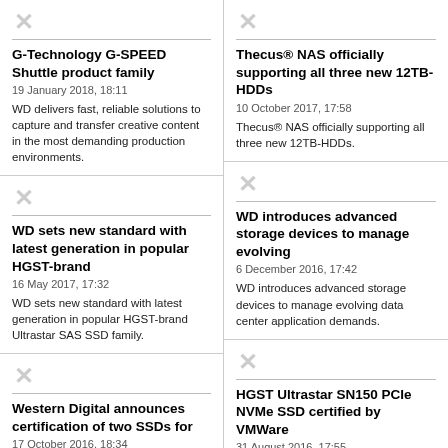G-Technology G-SPEED Shuttle product family
19 January 2018, 18:11
WD delivers fast, reliable solutions to capture and transfer creative content in the most demanding production environments.
Thecus® NAS officially supporting all three new 12TB-HDDs
10 October 2017, 17:58
Thecus® NAS officially supporting all three new 12TB-HDDs.
WD sets new standard with latest generation in popular HGST-brand
16 May 2017, 17:32
WD sets new standard with latest generation in popular HGST-brand Ultrastar SAS SSD family.
WD introduces advanced storage devices to manage evolving
6 December 2016, 17:42
WD introduces advanced storage devices to manage evolving data center application demands.
Western Digital announces certification of two SSDs for
17 October 2016, 18:34
Western Digital addresses increasing application workload demands for VMware enviroments with new certifications of two
HGST Ultrastar SN150 PCIe NVMe SSD certified by VMWare
31 August 2016, 17:55
HGST Ultrastar SN150 PCIe NVMe SSD certified by VMWare.